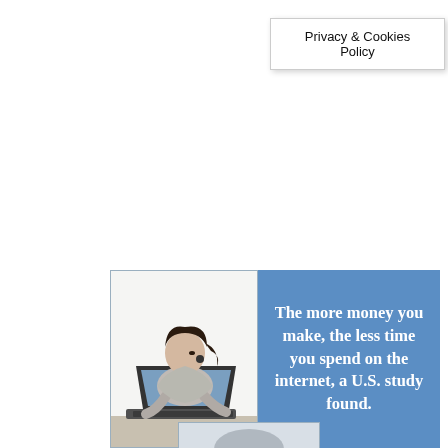Privacy & Cookies Policy
[Figure (infographic): Split panel infographic: left side shows a woman leaning over a laptop computer; right side is blue background with white bold text reading 'The more money you make, the less time you spend on the internet, a U.S. study found.']
[Figure (photo): Partial image visible at bottom of page, appears to be another photo partially cut off]